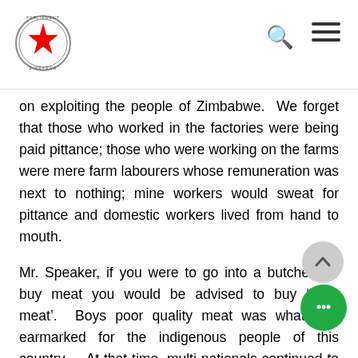Parliament of Zimbabwe
on exploiting the people of Zimbabwe. We forget that those who worked in the factories were being paid pittance; those who were working on the farms were mere farm labourers whose remuneration was next to nothing; mine workers would sweat for pittance and domestic workers lived from hand to mouth.
Mr. Speaker, if you were to go into a butchery to buy meat you would be advised to buy ‘boys meat’. Boys poor quality meat was what was earmarked for the indigenous people of this country. At that time, multi-nationals continued to support the Ian Smith regime breaking the United Nations sanctions …
THE TEMPORARY SPEAKER: Order, order. Hon. member,